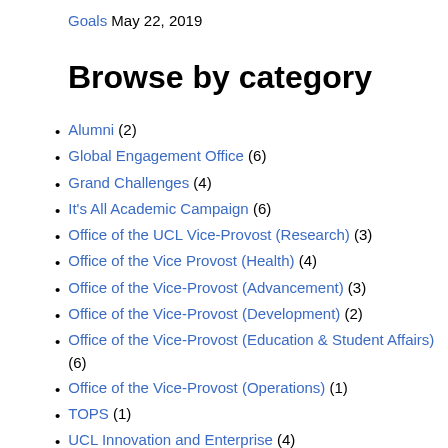Goals May 22, 2019
Browse by category
Alumni (2)
Global Engagement Office (6)
Grand Challenges (4)
It's All Academic Campaign (6)
Office of the UCL Vice-Provost (Research) (3)
Office of the Vice Provost (Health) (4)
Office of the Vice-Provost (Advancement) (3)
Office of the Vice-Provost (Development) (2)
Office of the Vice-Provost (Education & Student Affairs) (6)
Office of the Vice-Provost (Operations) (1)
TOPS (1)
UCL Innovation and Enterprise (4)
UCL London (1)
Uncategorized (3)